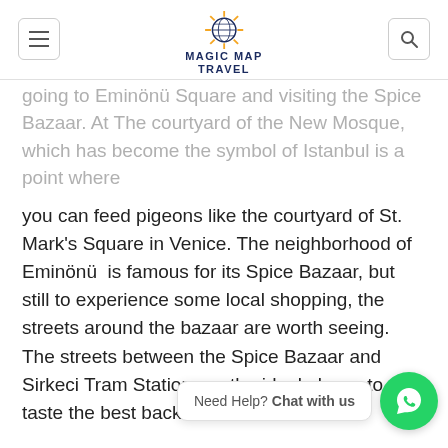Magic Map Travel
going to Eminönü Square and visiting the Spice Bazaar. At The courtyard of the New Mosque, which has become the symbol of Istanbul is a point where
you can feed pigeons like the courtyard of St. Mark's Square in Venice. The neighborhood of Eminönü is famous for its Spice Bazaar, but still to experience some local shopping, the streets around the bazaar are worth seeing. The streets between the Spice Bazaar and Sirkeci Tram Station are the ideal places to taste the best backstreet cousine.
Rustem Pasha Mosque that is decorated with beautiful examples of tiles from Iznik is also a good place to see. By the way, the mosque is only five-minute walking distance from the Spice Bazaar.
And lastly, if you want t... ju... stuff, Uzuncarsi Street, which is a couple of minutes to th...